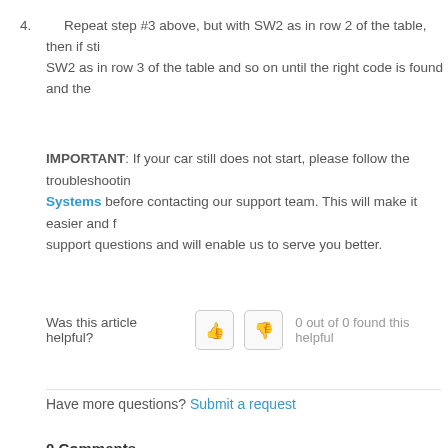4. Repeat step #3 above, but with SW2 as in row 2 of the table, then if still SW2 as in row 3 of the table and so on until the right code is found and the
IMPORTANT: If your car still does not start, please follow the troubleshooting Systems before contacting our support team. This will make it easier and for support questions and will enable us to serve you better.
Was this article helpful? 0 out of 0 found this helpful
Have more questions? Submit a request
0 Comments
Article is closed for comments.